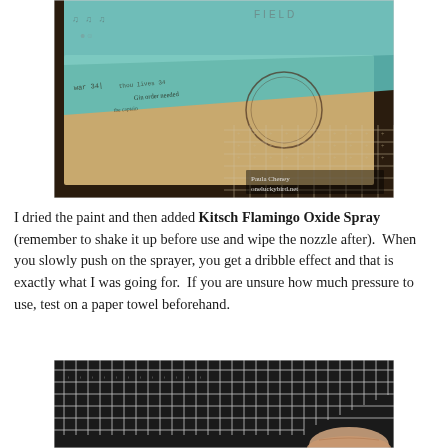[Figure (photo): Close-up photo of a mixed media art piece showing turquoise/teal painted surface over stamped vintage paper with handwriting and grid netting overlapping below, watermark 'Paula Cheney oneluckybird.net']
I dried the paint and then added Kitsch Flamingo Oxide Spray (remember to shake it up before use and wipe the nozzle after).  When you slowly push on the sprayer, you get a dribble effect and that is exactly what I was going for.  If you are unsure how much pressure to use, test on a paper towel beforehand.
[Figure (photo): Close-up photo of a white/silver wire mesh or grid material being held at the bottom by a hand with a finger visible]